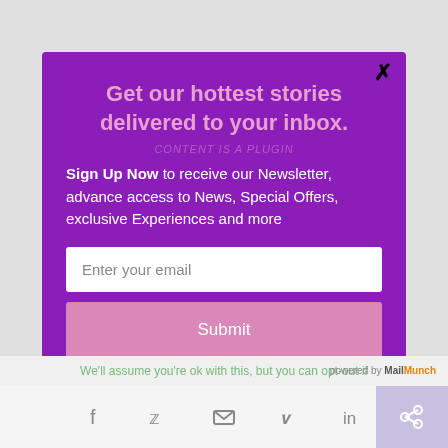Get our hottest stories delivered to your inbox.
Sign Up Now to receive our Newsletter, advance access to News, Special Offers, exclusive Experiences and more
[Figure (screenshot): Email input field with placeholder text 'Enter your email']
[Figure (screenshot): Submit button in pink/mauve color]
We'll assume you're ok with this, but you can opt-out if
[Figure (infographic): Social media sharing bar with Facebook, Twitter, email, Pinterest, LinkedIn icons and a share button]